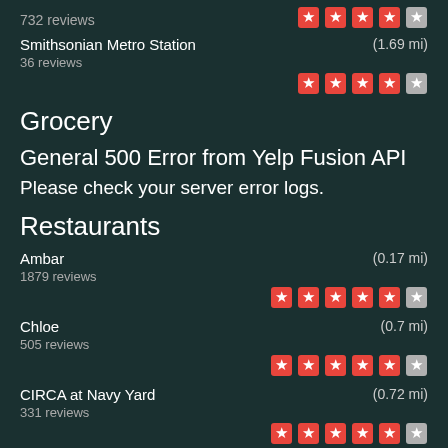732 reviews
★★★★½ (stars, partial)
Smithsonian Metro Station (1.69 mi) 36 reviews ★★★★½
Grocery
General 500 Error from Yelp Fusion API
Please check your server error logs.
Restaurants
Ambar (0.17 mi) 1879 reviews ★★★★★½
Chloe (0.7 mi) 505 reviews ★★★★★½
CIRCA at Navy Yard (0.72 mi) 331 reviews ★★★★★½